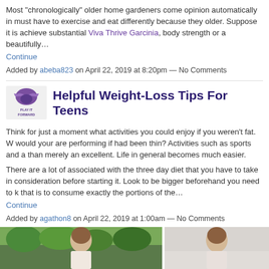Most "chronologically" older home gardeners come opinion automatically in must have to exercise and eat differently because they older. Suppose it is achieve substantial Viva Thrive Garcinia, body strength or a beautifully…
Continue
Added by abeba823 on April 22, 2019 at 8:20pm — No Comments
[Figure (logo): Play It Forward logo with eagle/bird icon]
Helpful Weight-Loss Tips For Teens
Think for just a moment what activities you could enjoy if you weren't fat. W would your are performing if had been thin? Activities such as sports and a than merely an excellent. Life in general becomes much easier.
There are a lot of associated with the three day diet that you have to take in consideration before starting it. Look to be bigger beforehand you need to k that is to consume exactly the portions of the…
Continue
Added by agathon8 on April 22, 2019 at 1:00am — No Comments
[Figure (photo): Small thumbnail photo of a person]
Close Kept Secrets To Weight Loss Lesson #
[Figure (photo): Two photos side by side of women]